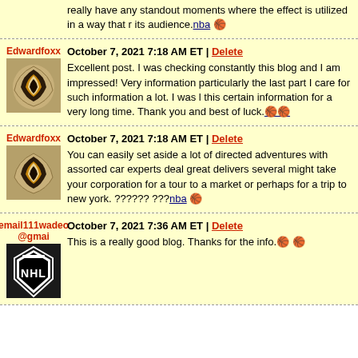really have any standout moments where the effect is utilized in a way that re its audience. nba 🏀
Edwardfoxx | October 7, 2021 7:18 AM ET | Delete
Excellent post. I was checking constantly this blog and I am impressed! Very information particularly the last part I care for such information a lot. I was looking for this certain information for a very long time. Thank you and best of luck. 🏀
Edwardfoxx | October 7, 2021 7:18 AM ET | Delete
You can easily set aside a lot of directed adventures with assorted car experts deal great delivers several might take your corporation for a tour to a market or perhaps for a trip to new york. ?????? ???nba 🏀
email111wadeo@gmai | October 7, 2021 7:36 AM ET | Delete
This is a really good blog. Thanks for the info. 🏀 🏀